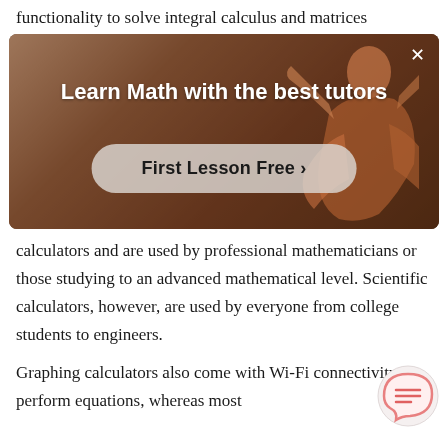functionality to solve integral calculus and matrices
[Figure (photo): Advertisement banner with a person gesturing, dark warm background. Title: 'Learn Math with the best tutors'. Button: 'First Lesson Free >']
calculators and are used by professional mathematicians or those studying to an advanced mathematical level. Scientific calculators, however, are used by everyone from college students to engineers.
Graphing calculators also come with Wi-Fi connectivity to perform equations, whereas most